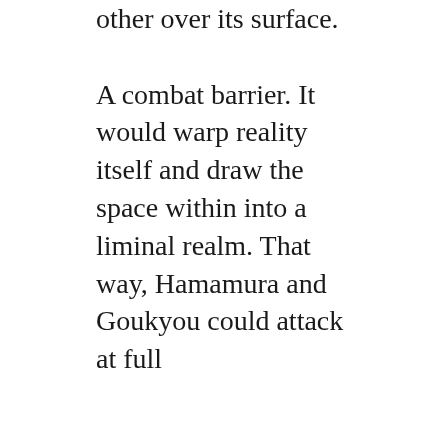other over its surface.

A combat barrier. It would warp reality itself and draw the space within into a liminal realm. That way, Hamamura and Goukyou could attack at full